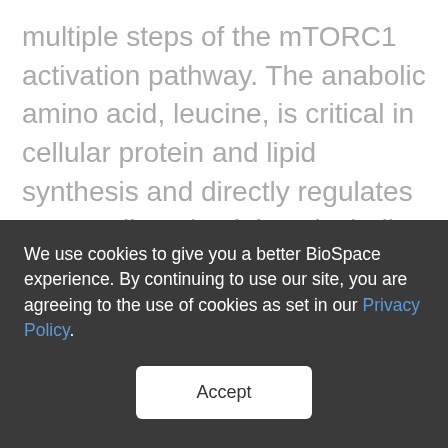multiple steps of the mTORC1 activation pathway. The anabolic amino acid, leucine, is critical in cellular protein and lipid synthesis and directly regulates mammalian physiology including skeletal muscle growth, insulin secretion and food intake. As such, the ability to pharmacologically target the newly-discovered sensor for leucine opens a potential avenue for the modulation of mTORC1 to address healthspan and a range of diseases of aging including metabolic, neurodegenerative
We use cookies to give you a better BioSpace experience. By continuing to use our site, you are agreeing to the use of cookies as set in our Privacy Policy.
Accept